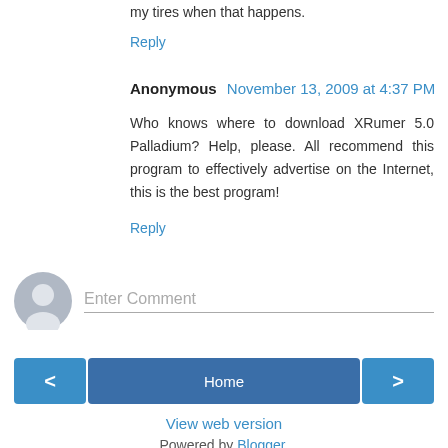my tires when that happens.
Reply
Anonymous  November 13, 2009 at 4:37 PM
Who knows where to download XRumer 5.0 Palladium? Help, please. All recommend this program to effectively advertise on the Internet, this is the best program!
Reply
[Figure (illustration): User avatar placeholder icon (grey circle with silhouette)]
Enter Comment
< Home >
View web version
Powered by Blogger.